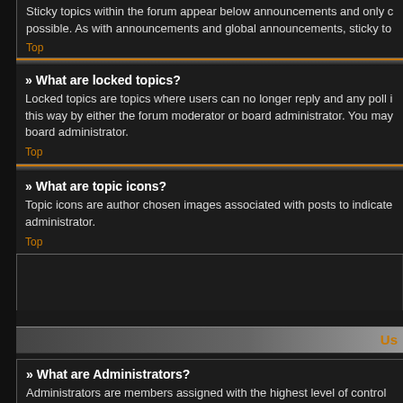Sticky topics within the forum appear below announcements and only c possible. As with announcements and global announcements, sticky to
Top
» What are locked topics?
Locked topics are topics where users can no longer reply and any poll i this way by either the forum moderator or board administrator. You may board administrator.
Top
» What are topic icons?
Topic icons are author chosen images associated with posts to indicate administrator.
Top
Us
» What are Administrators?
Administrators are members assigned with the highest level of control o setting permissions, banning users, creating usergroups or moderators other administrators. They may also have full moderator capabilities in a
Top
» What are Moderators?